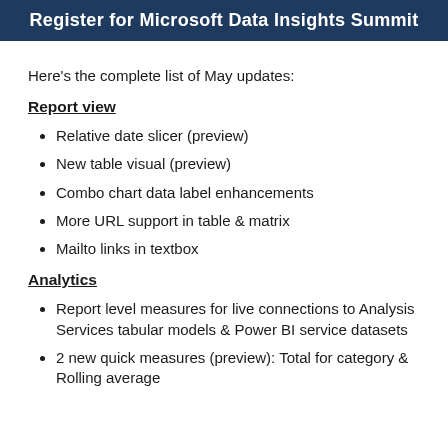[Figure (illustration): Dark navy blue banner with white bold text: Register for Microsoft Data Insights Summit]
Here’s the complete list of May updates:
Report view
Relative date slicer (preview)
New table visual (preview)
Combo chart data label enhancements
More URL support in table & matrix
Mailto links in textbox
Analytics
Report level measures for live connections to Analysis Services tabular models & Power BI service datasets
2 new quick measures (preview): Total for category & Rolling average